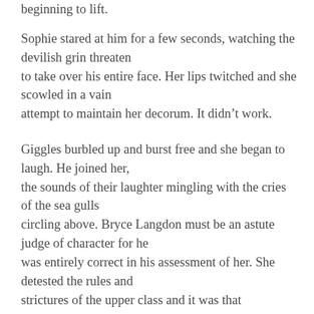beginning to lift.
Sophie stared at him for a few seconds, watching the devilish grin threaten to take over his entire face. Her lips twitched and she scowled in a vain attempt to maintain her decorum. It didn’t work.
Giggles burbled up and burst free and she began to laugh. He joined her, the sounds of their laughter mingling with the cries of the sea gulls circling above. Bryce Langdon must be an astute judge of character for he was entirely correct in his assessment of her. She detested the rules and strictures of the upper class and it was that